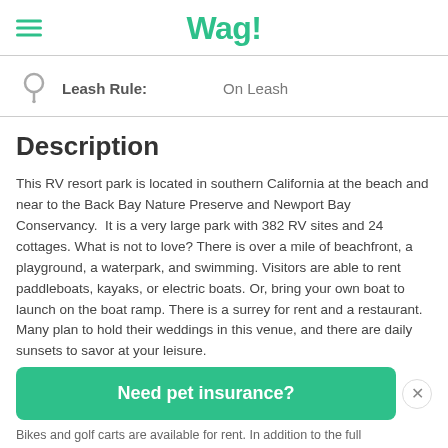Wag!
Leash Rule:   On Leash
Description
This RV resort park is located in southern California at the beach and near to the Back Bay Nature Preserve and Newport Bay Conservancy.  It is a very large park with 382 RV sites and 24 cottages. What is not to love? There is over a mile of beachfront, a playground, a waterpark, and swimming. Visitors are able to rent paddleboats, kayaks, or electric boats. Or, bring your own boat to launch on the boat ramp. There is a surrey for rent and a restaurant. Many plan to hold their weddings in this venue, and there are daily sunsets to savor at your leisure.
Need pet insurance?
Bikes and golf carts are available for rent. In addition to the full